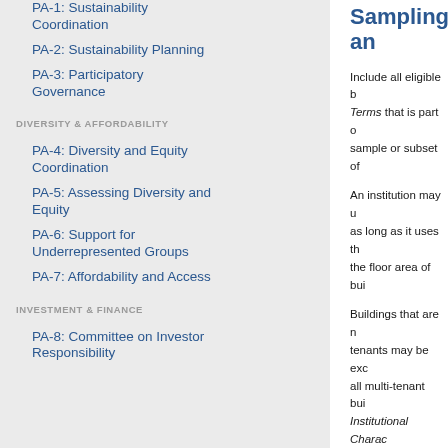PA-1: Sustainability Coordination
PA-2: Sustainability Planning
PA-3: Participatory Governance
DIVERSITY & AFFORDABILITY
PA-4: Diversity and Equity Coordination
PA-5: Assessing Diversity and Equity
PA-6: Support for Underrepresented Groups
PA-7: Affordability and Access
INVESTMENT & FINANCE
PA-8: Committee on Investor Responsibility
Sampling an
Include all eligible b Terms that is part o sample or subset of
An institution may u as long as it uses th the floor area of bui
Buildings that are n tenants may be exc all multi-tenant bui Institutional Charac to include some lea spaces, the institu not the entire buildi
Buildings that the i included.
The information pre STARS reports and i STARS reports are n